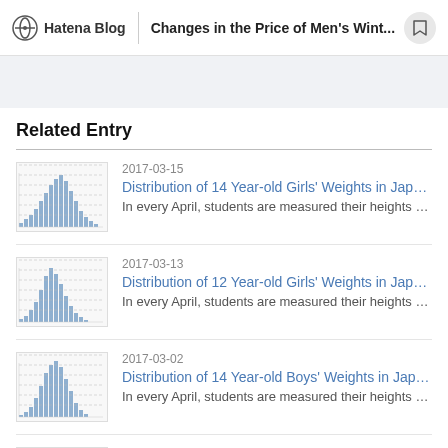Hatena Blog | Changes in the Price of Men's Wint...
Related Entry
[Figure (histogram): Small thumbnail histogram of weight distribution]
2017-03-15
Distribution of 14 Year-old Girls' Weights in Japa...
In every April, students are measured their heights and wei...
[Figure (histogram): Small thumbnail histogram of weight distribution]
2017-03-13
Distribution of 12 Year-old Girls' Weights in Japa...
In every April, students are measured their heights and wei...
[Figure (histogram): Small thumbnail histogram of weight distribution]
2017-03-02
Distribution of 14 Year-old Boys' Weights in Japan...
In every April, students are measured their heights and wei...
[Figure (histogram): Small thumbnail histogram of weight distribution]
2017-03-01